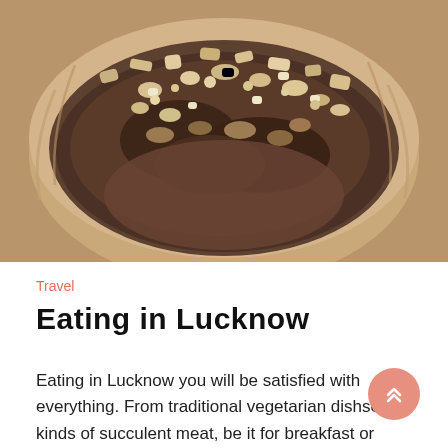[Figure (photo): Close-up photo of a traditional Lucknow dish — a ground meat or grain preparation served in a leaf bowl, topped with crunchy crumbled garnish.]
Travel
Eating in Lucknow
Eating in Lucknow you will be satisfied with everything. From traditional vegetarian dishses to kinds of succulent meat, be it for breakfast or dinner,